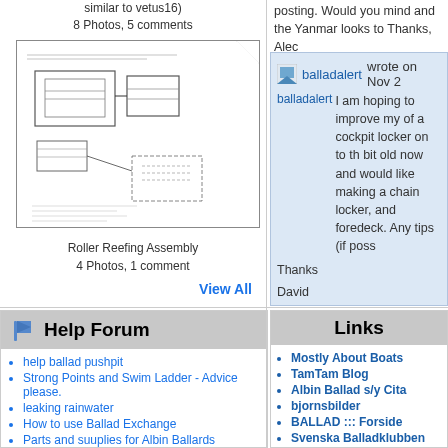similar to vetus16)
8 Photos, 5 comments
[Figure (engineering-diagram): Roller Reefing Assembly technical drawing with multiple stacked pages showing mechanical components]
Roller Reefing Assembly
4 Photos, 1 comment
View All
Help Forum
help ballad pushpit
Strong Points and Swim Ladder - Advice please.
leaking rainwater
How to use Ballad Exchange
Parts and suuplies for Albin Ballards
Renaming of "Electricity" subforum
Stability Certificate
Lack of water
wiring Diagram/Batteries
posting. Would you mind and the Yanmar looks to Thanks, Alec
balladalert wrote on Nov 2
I am hoping to improve my of a cockpit locker on to th bit old now and would like making a chain locker, and foredeck. Any tips (if poss
Thanks
David
Links
Mostly About Boats
TamTam Blog
Albin Ballad s/y Cita
bjornsbilder
BALLAD ::: Forside
Svenska Balladklubben
m-i-link.com Maritime Dictionary
Ballad Klub e.V. Deutsche Klass
bcnindex
www